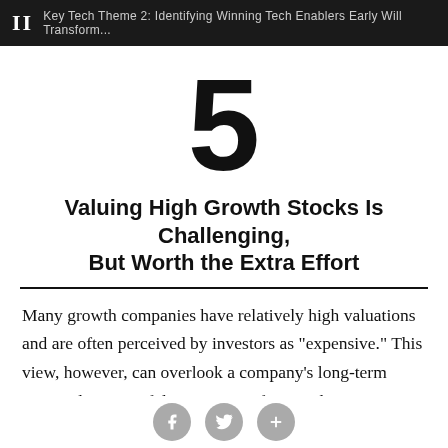II  Key Tech Theme 2: Identifying Winning Tech Enablers Early Will Transform...
5
Valuing High Growth Stocks Is Challenging, But Worth the Extra Effort
Many growth companies have relatively high valuations and are often perceived by investors as “expensive.” This view, however, can overlook a company’s long-term potential. Successful companies often need time to grow into their valuations. Over the past 10 years, the market has...